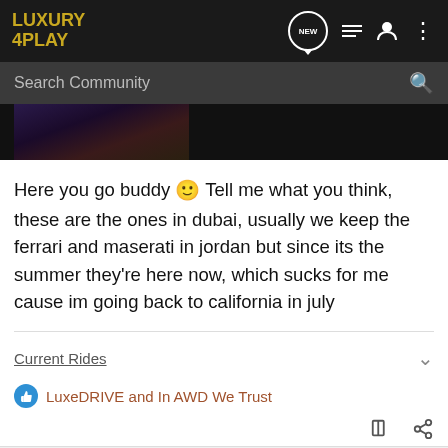LUXURY 4PLAY
Search Community
[Figure (photo): Partial view of a dark photo, likely a car or person image]
Here you go buddy 🙂 Tell me what you think, these are the ones in dubai, usually we keep the ferrari and maserati in jordan but since its the summer they're here now, which sucks for me cause im going back to california in july
Current Rides
LuxeDRIVE and In AWD We Trust
AdamK · Registered